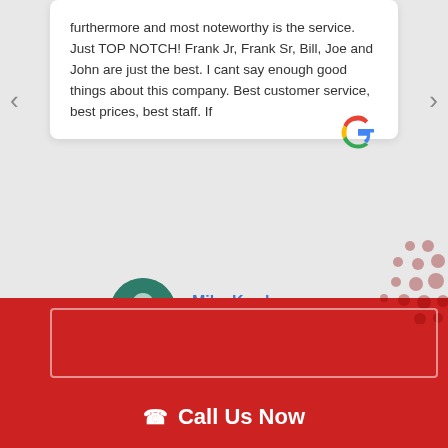furthermore and most noteworthy is the service. Just TOP NOTCH! Frank Jr, Frank Sr, Bill, Joe and John are just the best. I cant say enough good things about this company. Best customer service, best prices, best staff. If
Mike Kwak
3 years ago
Call Us Now